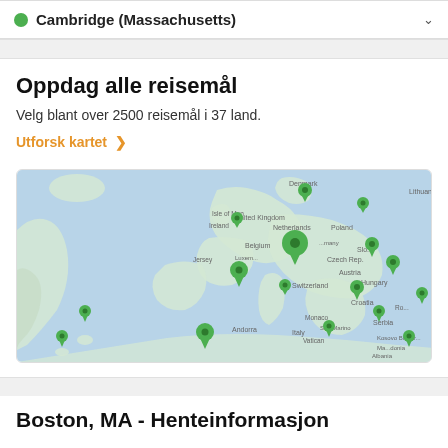Cambridge (Massachusetts)
Oppdag alle reisemål
Velg blant over 2500 reisemål i 37 land.
Utforsk kartet >
[Figure (map): Interactive map showing Europe with multiple green location pin markers indicating travel destinations in countries including UK, Netherlands, Belgium, France, Switzerland, Germany, Poland, Czech Republic, Hungary, Croatia, Serbia, Italy, Monaco, Andorra, Bulgaria and others.]
Boston, MA - Henteinformasjon